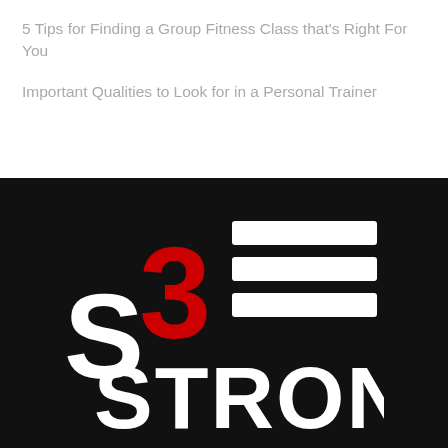5 Tips for Finding a Group Fitness Class that’s Right For You
Important Qualities to Look for in a Personal Trainer
[Figure (logo): 3 Strong fitness brand logo: large red '3' and white 'S' with three white horizontal bars to the right, and 'STRONG' in large white bold text below, all on a black background.]